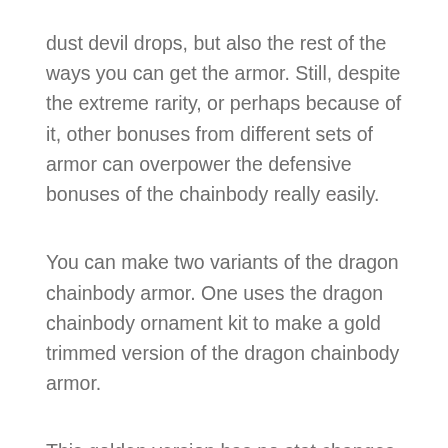dust devil drops, but also the rest of the ways you can get the armor. Still, despite the extreme rarity, or perhaps because of it, other bonuses from different sets of armor can overpower the defensive bonuses of the chainbody really easily.
You can make two variants of the dragon chainbody armor. One uses the dragon chainbody ornament kit to make a gold trimmed version of the dragon chainbody armor.
This golden version has no stat changes at all, and is purely cosmetic. If you have a dragon lump and